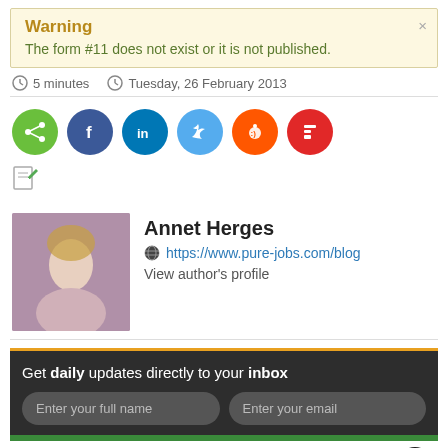Warning
The form #11 does not exist or it is not published.
5 minutes   Tuesday, 26 February 2013
[Figure (other): Social share buttons: share (green), Facebook (blue), LinkedIn (dark blue), Twitter (light blue), Reddit (orange-red), Flipboard (red)]
[Figure (other): Edit icon (small document icon)]
Annet Herges
https://www.pure-jobs.com/blog
View author's profile
Get daily updates directly to your inbox
Enter your full name   Enter your email